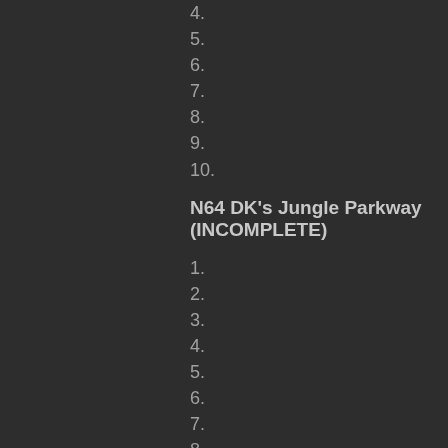4.
5.
6.
7.
8.
9.
10.
N64 DK's Jungle Parkway (INCOMPLETE)
1.
2.
3.
4.
5.
6.
7.
8.
9.
10.
GCN Mario Circuit (INCOMPLETE)
1.